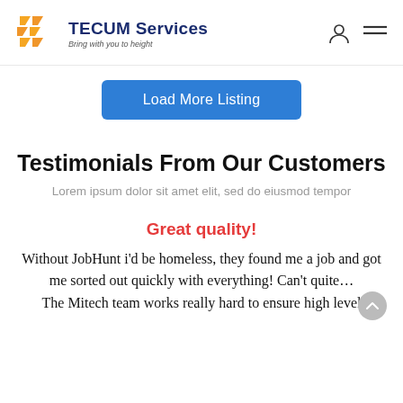TECUM Services — Bring with you to height
[Figure (logo): TECUM Services logo with orange arrow/chevron graphic and dark blue bold company name text, tagline 'Bring with you to height']
Load More Listing
Testimonials From Our Customers
Lorem ipsum dolor sit amet elit, sed do eiusmod tempor
Great quality!
Without JobHunt i'd be homeless, they found me a job and got me sorted out quickly with everything! Can't quite... The Mitech team works really hard to ensure high level